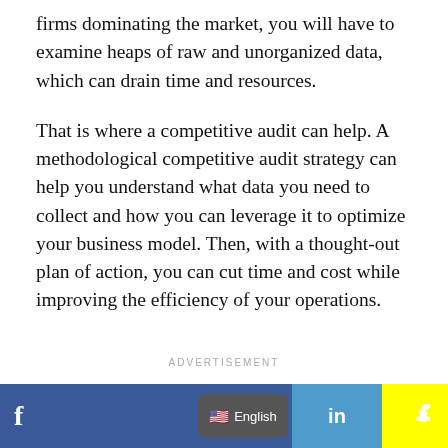firms dominating the market, you will have to examine heaps of raw and unorganized data, which can drain time and resources.
That is where a competitive audit can help. A methodological competitive audit strategy can help you understand what data you need to collect and how you can leverage it to optimize your business model. Then, with a thought-out plan of action, you can cut time and cost while improving the efficiency of your operations.
ADVERTISEMENT
[Figure (other): Social sharing bar with Facebook, English language selector, LinkedIn, Snapchat, Pinterest, and share buttons]